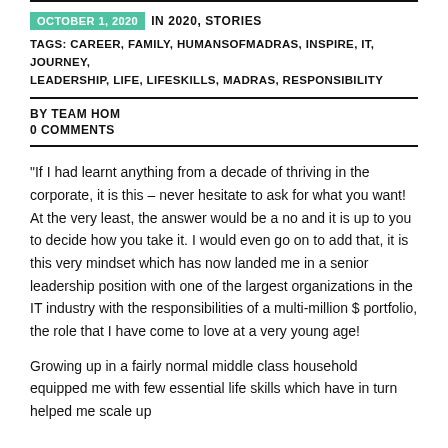OCTOBER 1, 2020  IN 2020, STORIES
TAGS: CAREER, FAMILY, HUMANSOFMADRAS, INSPIRE, IT, JOURNEY, LEADERSHIP, LIFE, LIFESKILLS, MADRAS, RESPONSIBILITY
BY TEAM HOM
0 COMMENTS
“If I had learnt anything from a decade of thriving in the corporate, it is this – never hesitate to ask for what you want! At the very least, the answer would be a no and it is up to you to decide how you take it. I would even go on to add that, it is this very mindset which has now landed me in a senior leadership position with one of the largest organizations in the IT industry with the responsibilities of a multi-million $ portfolio, the role that I have come to love at a very young age!
Growing up in a fairly normal middle class household equipped me with few essential life skills which have in turn helped me scale up...